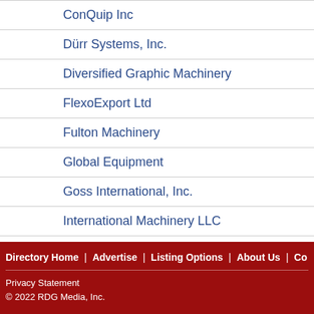ConQuip Inc
Dürr Systems, Inc.
Diversified Graphic Machinery
FlexoExport Ltd
Fulton Machinery
Global Equipment
Goss International, Inc.
International Machinery LLC
J&J Converting Machinery
Directory Home | Advertise | Listing Options | About Us | Co
Privacy Statement
© 2022 RDG Media, Inc.